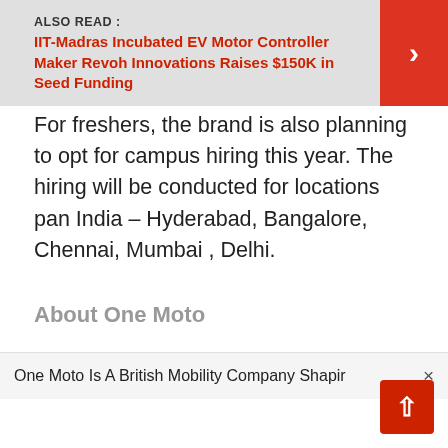ALSO READ : IIT-Madras Incubated EV Motor Controller Maker Revoh Innovations Raises $150K in Seed Funding
For freshers, the brand is also planning to opt for campus hiring this year. The hiring will be conducted for locations pan India – Hyderabad, Bangalore, Chennai, Mumbai , Delhi.
About One Moto
One Moto Is A British Mobility Company Shapir